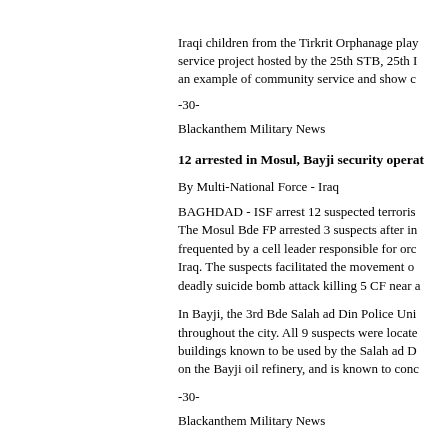Iraqi children from the Tirkrit Orphanage play service project hosted by the 25th STB, 25th I an example of community service and show c
-30-
Blackanthem Military News
12 arrested in Mosul, Bayji security operat
By Multi-National Force - Iraq
BAGHDAD - ISF arrest 12 suspected terroris The Mosul Bde FP arrested 3 suspects after in frequented by a cell leader responsible for orc Iraq. The suspects facilitated the movement o deadly suicide bomb attack killing 5 CF near a
In Bayji, the 3rd Bde Salah ad Din Police Uni throughout the city. All 9 suspects were locate buildings known to be used by the Salah ad D on the Bayji oil refinery, and is known to conc
-30-
Blackanthem Military News